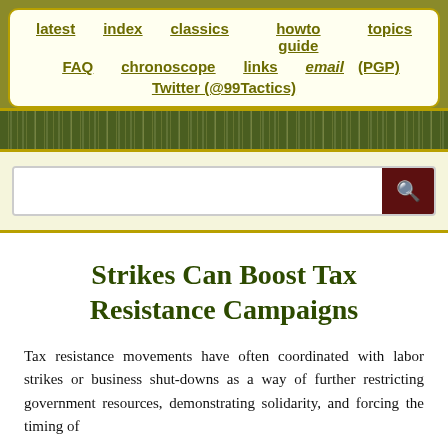latest   index   classics   howto guide   topics   FAQ   chronoscope   links   email (PGP)   Twitter (@99Tactics)
[Figure (other): Decorative green tile/pattern stripe divider]
[Search bar]
Strikes Can Boost Tax Resistance Campaigns
Tax resistance movements have often coordinated with labor strikes or business shut-downs as a way of further restricting government resources, demonstrating solidarity, and forcing the timing of